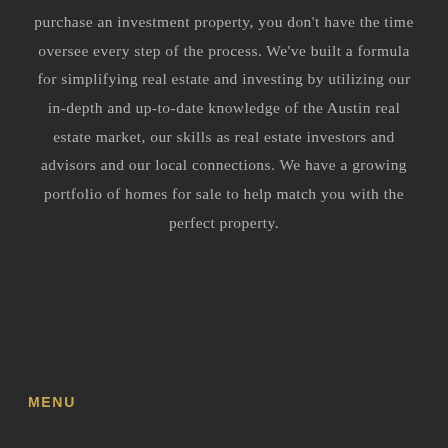purchase an investment property, you don't have the time oversee every step of the process. We've built a formula for simplifying real estate and investing by utilizing our in-depth and up-to-date knowledge of the Austin real estate market, our skills as real estate investors and advisors and our local connections. We have a growing portfolio of homes for sale to help match you with the perfect property.
MENU